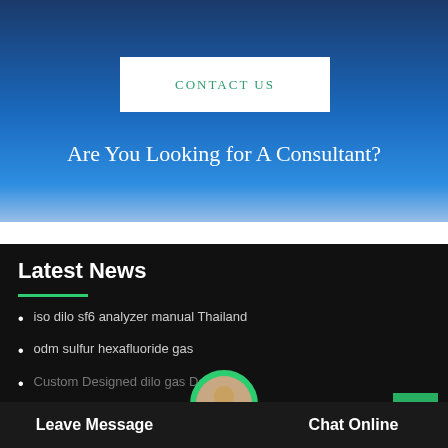CONTACT US
Are You Looking for A Consultant?
Latest News
iso dilo sf6 analyzer manual Thailand
odm sulfur hexafluoride gas
Custom Designed dilo gas De...
Leave Message
Chat Online